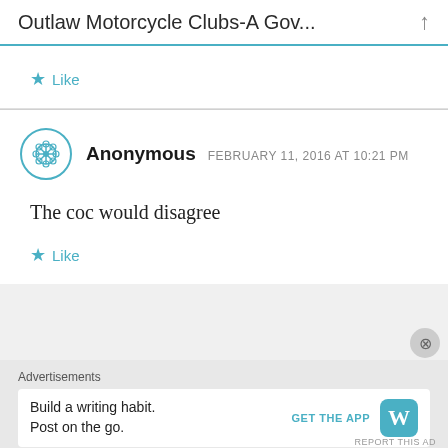Outlaw Motorcycle Clubs-A Gov...
Like
Anonymous  FEBRUARY 11, 2016 AT 10:21 PM
The coc would disagree
Like
Advertisements
Build a writing habit. Post on the go. GET THE APP